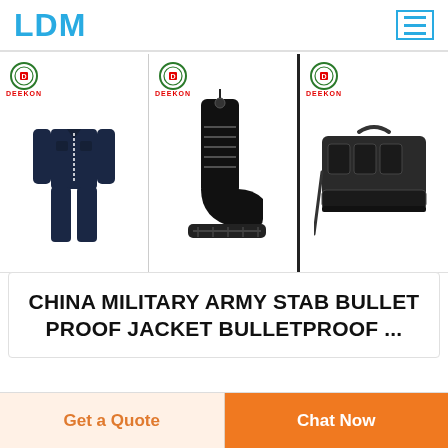LDM
[Figure (photo): Three product images side by side with Deekon branding: a dark navy coverall/jumpsuit, a black military boot, and a black tactical/range bag.]
CHINA MILITARY ARMY STAB BULLET PROOF JACKET BULLETPROOF ...
Get a Quote
Chat Now